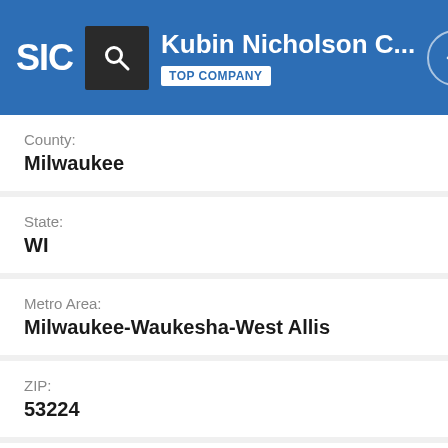SIC | Kubin Nicholson C... | TOP COMPANY
County:
Milwaukee
State:
WI
Metro Area:
Milwaukee-Waukesha-West Allis
ZIP:
53224
Area Code:
414